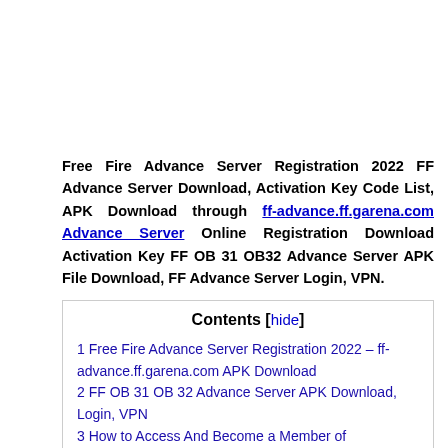Free Fire Advance Server Registration 2022 FF Advance Server Download, Activation Key Code List, APK Download through ff-advance.ff.garena.com Advance Server Online Registration Download Activation Key FF OB 31 OB32 Advance Server APK File Download, FF Advance Server Login, VPN.
| Contents [hide] |
| 1 Free Fire Advance Server Registration 2022 – ff-advance.ff.garena.com APK Download |
| 2 FF OB 31 OB 32 Advance Server APK Download, Login, VPN |
| 3 How to Access And Become a Member of |